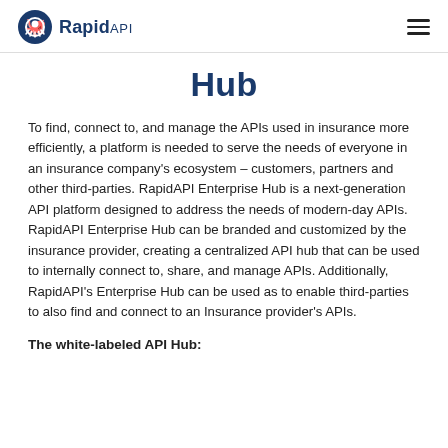RapidAPI
Hub
To find, connect to, and manage the APIs used in insurance more efficiently, a platform is needed to serve the needs of everyone in an insurance company's ecosystem – customers, partners and other third-parties. RapidAPI Enterprise Hub is a next-generation API platform designed to address the needs of modern-day APIs. RapidAPI Enterprise Hub can be branded and customized by the insurance provider, creating a centralized API hub that can be used to internally connect to, share, and manage APIs. Additionally, RapidAPI's Enterprise Hub can be used as to enable third-parties to also find and connect to an Insurance provider's APIs.
The white-labeled API Hub: